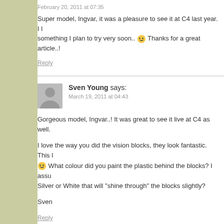February 20, 2011 at 07:35
Super model, Ingvar, it was a pleasure to see it at C4 last year. I l... something I plan to try very soon.. 🙂 Thanks for a great article..!
Reply
Sven Young says:
March 19, 2011 at 04:43
Gorgeous model, Ingvar..! It was great to see it live at C4 as well.
I love the way you did the vision blocks, they look fantastic. This l... 🙂 What colour did you paint the plastic behind the blocks? I assu... Silver or White that will "shine through" the blocks slightly?
Sven
Reply
ingvar says: